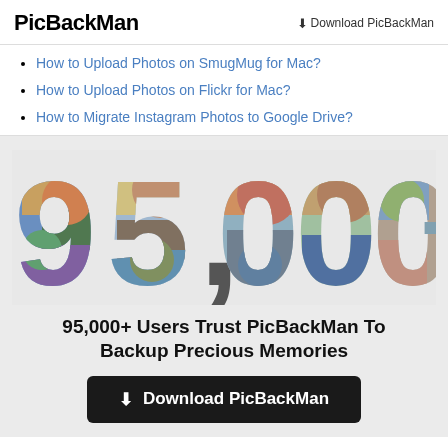PicBackMan    ⬇ Download PicBackMan
How to Upload Photos on SmugMug for Mac?
How to Upload Photos on Flickr for Mac?
How to Migrate Instagram Photos to Google Drive?
[Figure (infographic): Large stylized text '95,000+' made up of photo collage of people's faces and images filling the letterforms, on a light gray background.]
95,000+ Users Trust PicBackMan To Backup Precious Memories
⬇ Download PicBackMan